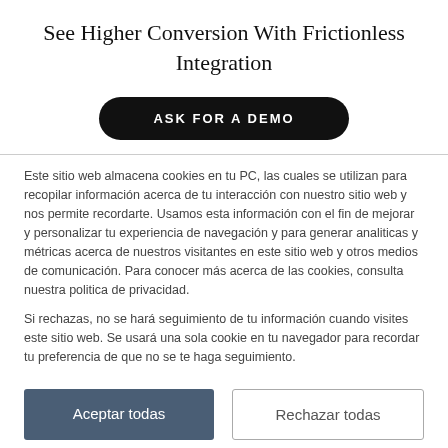See Higher Conversion With Frictionless Integration
[Figure (other): Black pill-shaped button with white uppercase text 'ASK FOR A DEMO']
Este sitio web almacena cookies en tu PC, las cuales se utilizan para recopilar información acerca de tu interacción con nuestro sitio web y nos permite recordarte. Usamos esta información con el fin de mejorar y personalizar tu experiencia de navegación y para generar analiticas y métricas acerca de nuestros visitantes en este sitio web y otros medios de comunicación. Para conocer más acerca de las cookies, consulta nuestra politica de privacidad.
Si rechazas, no se hará seguimiento de tu información cuando visites este sitio web. Se usará una sola cookie en tu navegador para recordar tu preferencia de que no se te haga seguimiento.
Aceptar todas | Rechazar todas